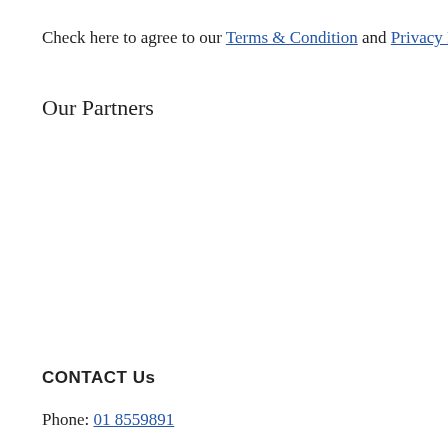Check here to agree to our Terms & Condition and Privacy Poli…
Our Partners
CONTACT Us
Phone: 01 8559891